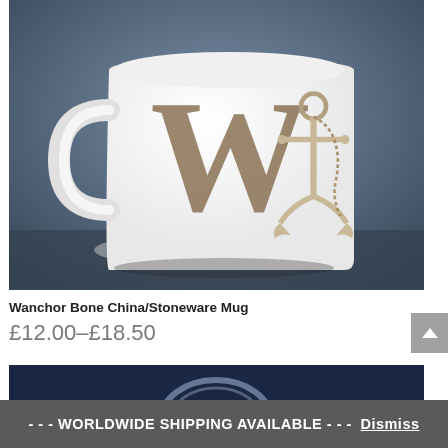[Figure (photo): A white coffee mug with a large brown letter W and a nautical anchor illustration printed on it, photographed against a dark blue-grey background.]
Wanchor Bone China/Stoneware Mug
£12.00–£18.50
[Figure (photo): Partial photo of a second product, appears to show a ring or circular object against a dark navy background.]
- - - WORLDWIDE SHIPPING AVAILABLE - - - Dismiss